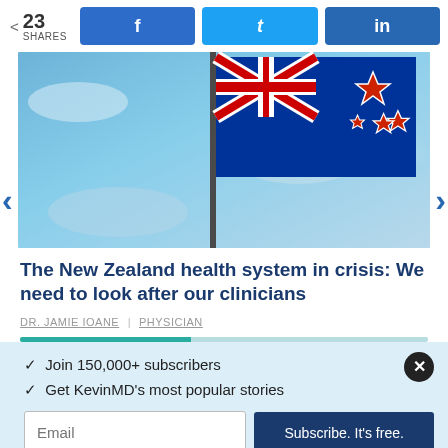23 SHARES | Facebook | Twitter | LinkedIn
[Figure (photo): New Zealand flag waving on a flagpole against a blue cloudy sky]
The New Zealand health system in crisis: We need to look after our clinicians
DR. JAMIE IOANE | PHYSICIAN
✓ Join 150,000+ subscribers
✓ Get KevinMD's most popular stories
Email | Subscribe. It's free.